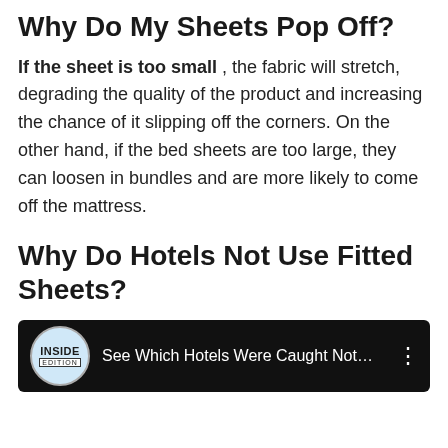Why Do My Sheets Pop Off?
If the sheet is too small , the fabric will stretch, degrading the quality of the product and increasing the chance of it slipping off the corners. On the other hand, if the bed sheets are too large, they can loosen in bundles and are more likely to come off the mattress.
Why Do Hotels Not Use Fitted Sheets?
[Figure (screenshot): YouTube video thumbnail showing Inside Edition logo and text 'See Which Hotels Were Caught Not...' with three-dot menu icon on dark background]